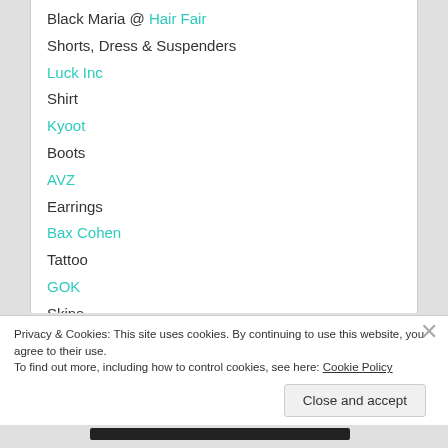Black Maria @ Hair Fair
Shorts, Dress & Suspenders
Luck Inc
Shirt
Kyoot
Boots
AVZ
Earrings
Bax Cohen
Tattoo
GOK
Skins
Pic 1-Yourskin Yourshape
Privacy & Cookies: This site uses cookies. By continuing to use this website, you agree to their use.
To find out more, including how to control cookies, see here: Cookie Policy
Close and accept